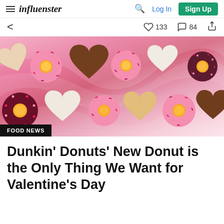influenster | Log In | Sign Up
< | 133 | 84 | share
[Figure (photo): Pink swirled marble background with assorted Dunkin' Donuts heart-shaped and round donuts arranged in two rows. Heart-shaped donuts include glazed, chocolate-dipped, and powdered sugar varieties. Round donuts include pink frosted with sprinkles, chocolate sprinkles, and pink sprinkled varieties.]
FOOD NEWS
Dunkin' Donuts' New Donut is the Only Thing We Want for Valentine's Day